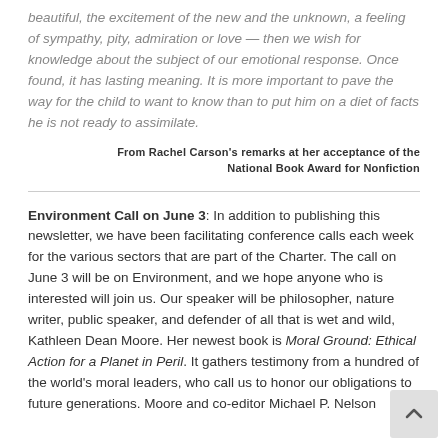beautiful, the excitement of the new and the unknown, a feeling of sympathy, pity, admiration or love — then we wish for knowledge about the subject of our emotional response. Once found, it has lasting meaning. It is more important to pave the way for the child to want to know than to put him on a diet of facts he is not ready to assimilate.
From Rachel Carson's remarks at her acceptance of the National Book Award for Nonfiction
Environment Call on June 3: In addition to publishing this newsletter, we have been facilitating conference calls each week for the various sectors that are part of the Charter. The call on June 3 will be on Environment, and we hope anyone who is interested will join us. Our speaker will be philosopher, nature writer, public speaker, and defender of all that is wet and wild, Kathleen Dean Moore. Her newest book is Moral Ground: Ethical Action for a Planet in Peril. It gathers testimony from a hundred of the world's moral leaders, who call us to honor our obligations to future generations. Moore and co-editor Michael P. Nelson